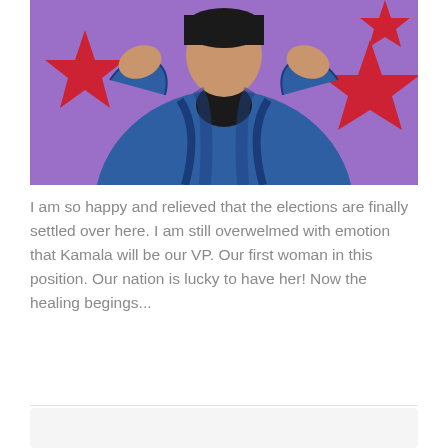[Figure (illustration): Stylized pop-art illustration of a woman in a blue blazer with raised fists, on a purple background with red stars]
I am so happy and relieved that the elections are finally settled over here. I am still overwelmed with emotion that Kamala will be our VP. Our first woman in this position. Our nation is lucky to have her! Now the healing begings...